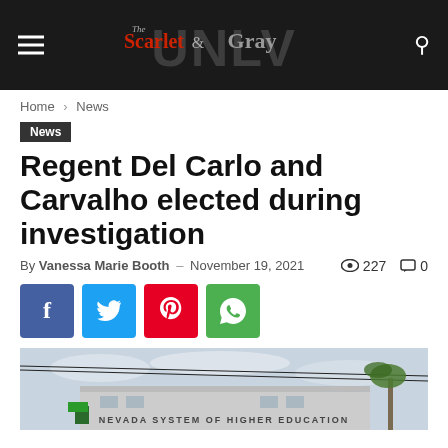The Scarlet & Gray — UNLV
Home › News
News
Regent Del Carlo and Carvalho elected during investigation
By Vanessa Marie Booth – November 19, 2021  👁 227  💬 0
[Figure (other): Social share buttons: Facebook, Twitter, Pinterest, WhatsApp]
[Figure (photo): Photo of Nevada System of Higher Education building exterior with power lines, palm tree, and overcast sky visible. Text on building reads NEVADA SYSTEM OF HIGHER EDUCATION.]